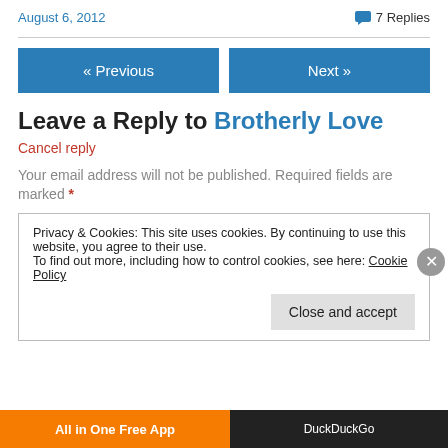August 6, 2012
7 Replies
« Previous   Next »
Leave a Reply to Brotherly Love
Cancel reply
Your email address will not be published. Required fields are marked *
Privacy & Cookies: This site uses cookies. By continuing to use this website, you agree to their use.
To find out more, including how to control cookies, see here: Cookie Policy
Close and accept
[Figure (infographic): Bottom ad bar with orange section reading 'All in One Free App' and dark section with DuckDuckGo branding]